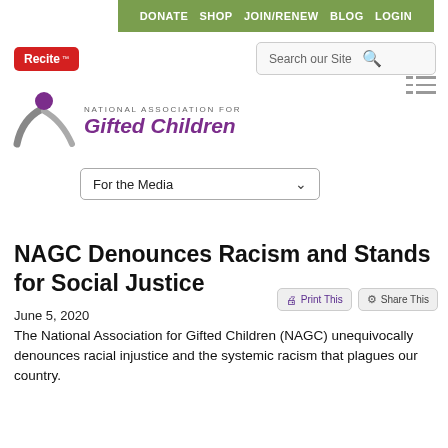DONATE  SHOP  JOIN/RENEW  BLOG  LOGIN
[Figure (logo): Recite accessibility button (red rounded rectangle with white text 'Recite' and TM superscript)]
[Figure (logo): National Association for Gifted Children logo — stylized figure with purple circle head and grey sweeping arms, with text 'NATIONAL ASSOCIATION FOR' and 'Gifted Children' in purple italic]
For the Media
NAGC Denounces Racism and Stands for Social Justice
June 5, 2020
The National Association for Gifted Children (NAGC) unequivocally denounces racial injustice and the systemic racism that plagues our country.